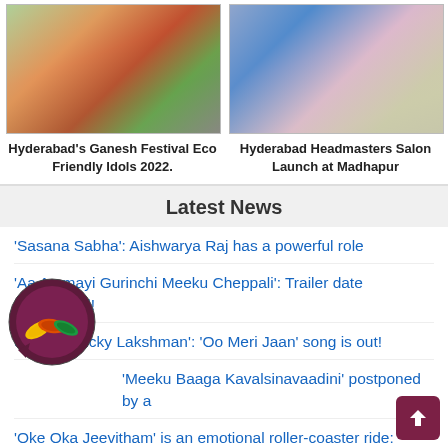[Figure (photo): Hyderabad Ganesh Festival idol photo]
Hyderabad's Ganesh Festival Eco Friendly Idols 2022.
[Figure (photo): Hyderabad Headmasters Salon Launch at Madhapur photo]
Hyderabad Headmasters Salon Launch at Madhapur
Latest News
'Sasana Sabha': Aishwarya Raj has a powerful role
'Aa Ammayi Gurinchi Meeku Cheppali': Trailer date announced!
Sohel's 'Lucky Lakshman': 'Oo Meri Jaan' song is out!
'Meeku Baaga Kavalsinavaadini' postponed by a
'Oke Oka Jeevitham' is an emotional roller-coaster ride: Makers
Read More News